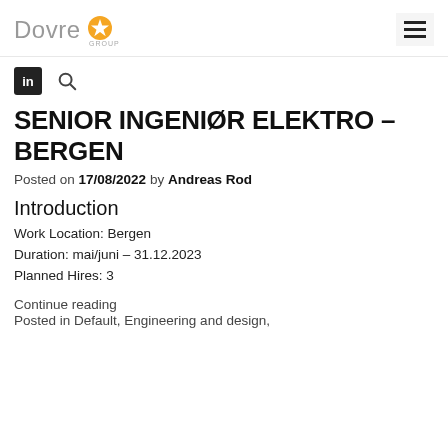Dovre [logo]
[Figure (logo): Dovre Group logo with orange star icon and grey 'Dovre' text]
[Figure (other): LinkedIn icon (black square with 'in') and search magnifying glass icon]
SENIOR INGENIØR ELEKTRO – BERGEN
Posted on 17/08/2022 by Andreas Rod
Introduction
Work Location: Bergen
Duration: mai/juni – 31.12.2023
Planned Hires: 3
Continue reading
Posted in Default, Engineering and design,